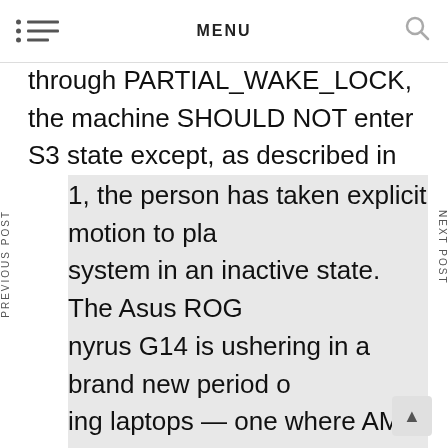MENU
through PARTIAL_WAKE_LOCK, the machine SHOULD NOT enter S3 state except, as described in 1, the person has taken explicit motion to place system in an inactive state. The Asus ROG Zephyrus G14 is ushering in a brand new period of gaming laptops — one where AMD is a serious player. The Omen 15 will ship in July with a 15.6-inch, 1080p 240Hz panel with G-SYNC, an Intel i7-10750H CPU, 802.11ax wireless and NVIDIA RTX 2070 Max-Q graphics. Implement delivers software robotics initiatives using a properly-proven supply mannequin that allows the shopper to validate enterprise case and automate the primary